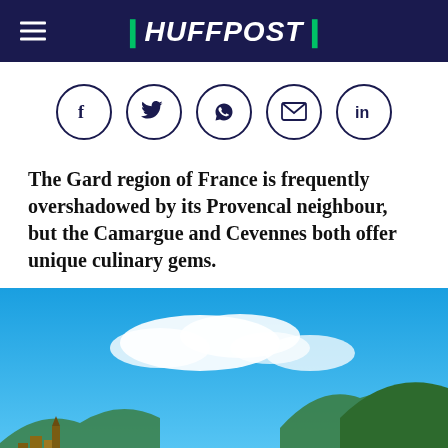HUFFPOST
[Figure (infographic): Social sharing icons row: Facebook, Twitter, WhatsApp, Email, LinkedIn — each in a circle outline]
The Gard region of France is frequently overshadowed by its Provencal neighbour, but the Camargue and Cevennes both offer unique culinary gems.
[Figure (photo): Scenic outdoor photo showing a blue sky with white clouds, green hills/mountains in the background, and a town with buildings visible on the left side.]